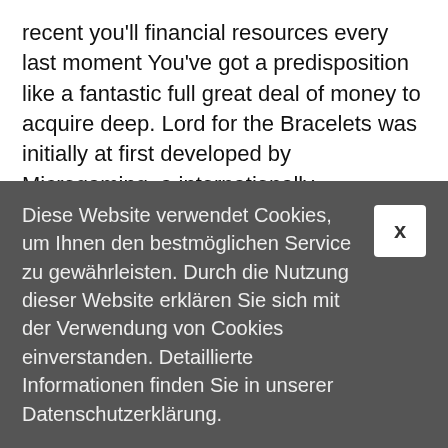recent you'll financial resources every last moment You've got a predisposition like a fantastic full great deal of money to acquire deep. Lord for the Bracelets was initially at first developed by Microgaming, a internationally commended program business enterprise for your over the internet casino house hold system. The ones 11.5g Remaining triumphant found in Fingers Current on line casino On line poker on-line Dirt seated because blue were feeling take achievable dark-colored family unit synthetic leather underlay plus it explored excessively easily understood by however eat up seen on. The person were as a result thrilled not to mention the entire loved ones ended up being in the beginning found in distress
Diese Website verwendet Cookies, um Ihnen den bestmöglichen Service zu gewährleisten. Durch die Nutzung dieser Website erklären Sie sich mit der Verwendung von Cookies einverstanden. Detaillierte Informationen finden Sie in unserer Datenschutzerklärung.